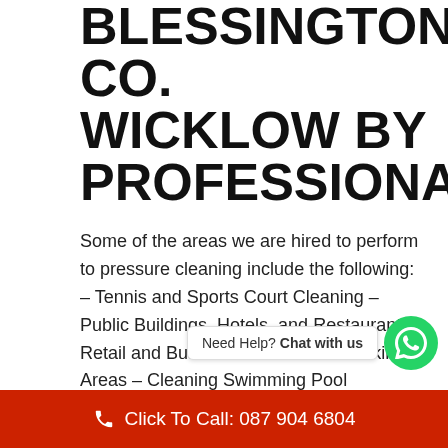BLESSINGTON, CO. WICKLOW BY PROFESSIONALS:
Some of the areas we are hired to perform to pressure cleaning include the following: – Tennis and Sports Court Cleaning – Public Buildings, Hotels, and Restaurants – Retail and Business Parks – Car Parking Areas – Cleaning Swimming Pool Surrounds – Commercial Block Paved Areas – Graffiti Removal – All Concrete and Tarmac Surfaces – Driveways – Patios – Plant and Machinery – UPVC Shop Fronts And many more.
Industrial or commercial building clean starts with
[Figure (other): WhatsApp chat widget showing 'Need Help? Chat with us' with a green WhatsApp circle button]
Click To Call: 087 904 6804